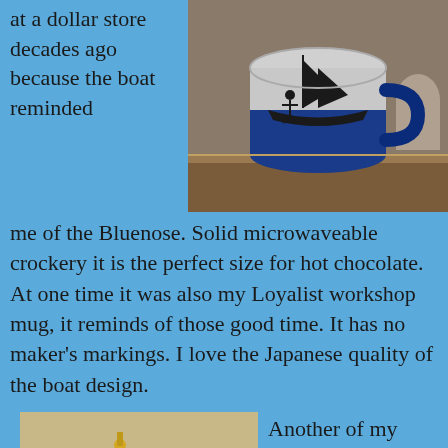at a dollar store decades ago because the boat reminded
[Figure (photo): A blue and white ceramic mug with a sailing boat silhouette design, sitting on a wooden surface]
me of the Bluenose. Solid microwaveable crockery it is the perfect size for hot chocolate. At one time it was also my Loyalist workshop mug, it reminds of those good time. It has no maker’s markings. I love the Japanese quality of the boat design.
[Figure (photo): A small golden/brass bell or funnel-shaped object on a beige/tan surface]
Another of my favorite objects is